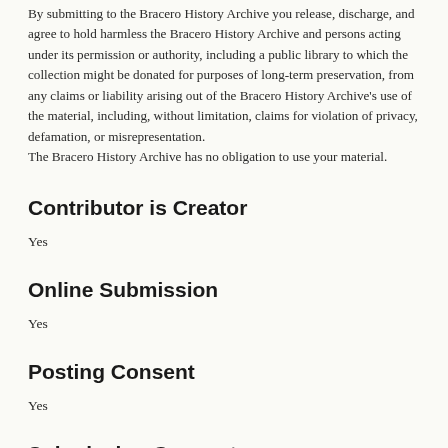By submitting to the Bracero History Archive you release, discharge, and agree to hold harmless the Bracero History Archive and persons acting under its permission or authority, including a public library to which the collection might be donated for purposes of long-term preservation, from any claims or liability arising out of the Bracero History Archive's use of the material, including, without limitation, claims for violation of privacy, defamation, or misrepresentation.
The Bracero History Archive has no obligation to use your material.
Contributor is Creator
Yes
Online Submission
Yes
Posting Consent
Yes
Submission Consent